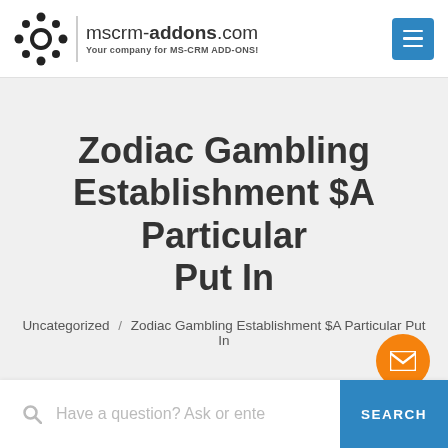[Figure (logo): mscrm-addons.com logo with circular dot pattern icon and tagline 'Your company for MS-CRM ADD-ONS!']
Zodiac Gambling Establishment $A Particular Put In
Uncategorized / Zodiac Gambling Establishment $A Particular Put In
Have a question? Ask or enter  SEARCH